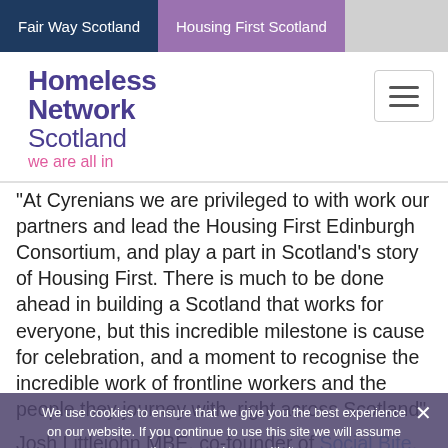Fair Way Scotland | Housing First Scotland
[Figure (logo): Homeless Network Scotland logo with tagline 'we are all in']
"At Cyrenians we are privileged to with work our partners and lead the Housing First Edinburgh Consortium, and play a part in Scotland's story of Housing First. There is much to be done ahead in building a Scotland that works for everyone, but this incredible milestone is cause for celebration, and a moment to recognise the incredible work of frontline workers and the people they journey with, right across Scotland"
Josh Littlejohn MBE, co-founder of Social Bite, which kick-started the Pathfinder, said:
"It's amazing to see the Housing First Scotland
We use cookies to ensure that we give you the best experience on our website. If you continue to use this site we will assume that you are happy with it.
Accept | Reject | Privacy policy